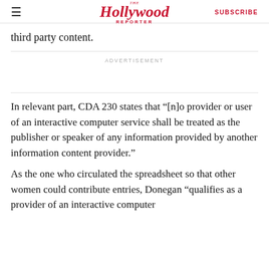The Hollywood Reporter | SUBSCRIBE
third party content.
ADVERTISEMENT
In relevant part, CDA 230 states that “[n]o provider or user of an interactive computer service shall be treated as the publisher or speaker of any information provided by another information content provider.”
As the one who circulated the spreadsheet so that other women could contribute entries, Donegan “qualifies as a provider of an interactive computer service,” writes Judge Hall...